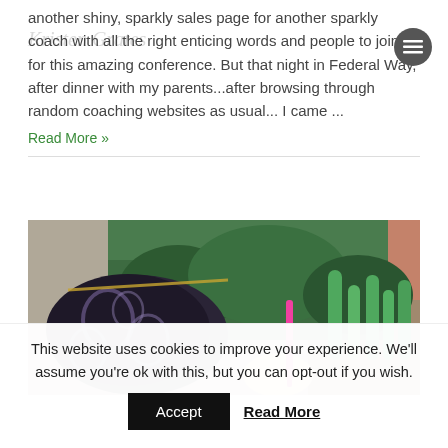another shiny, sparkly sales page for another sparkly coach with all the right enticing words and people to join for this amazing conference. But that night in Federal Way, after dinner with my parents...after browsing through random coaching websites as usual... I came ...
Read More »
[Figure (photo): Person holding a pink pen or marker, with a patterned bag and succulent/cactus garden in the background]
This website uses cookies to improve your experience. We'll assume you're ok with this, but you can opt-out if you wish.
Accept   Read More